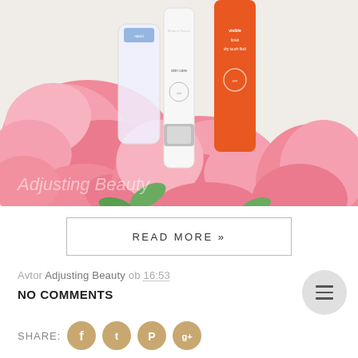[Figure (photo): Flatlay photo of skincare/beauty products including a white bottle with silver cap and an orange tube, surrounded by pink roses on a white marble surface. Watermark text 'Adjusting Beauty' visible in lower left.]
READ MORE »
Avtor Adjusting Beauty ob 16:53
NO COMMENTS
SHARE: